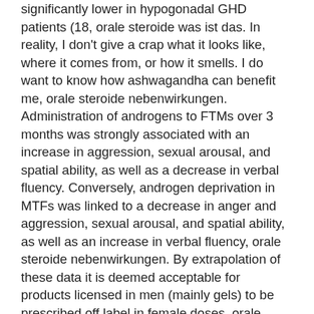significantly lower in hypogonadal GHD patients (18, orale steroide was ist das. In reality, I don't give a crap what it looks like, where it comes from, or how it smells. I do want to know how ashwagandha can benefit me, orale steroide nebenwirkungen. Administration of androgens to FTMs over 3 months was strongly associated with an increase in aggression, sexual arousal, and spatial ability, as well as a decrease in verbal fluency. Conversely, androgen deprivation in MTFs was linked to a decrease in anger and aggression, sexual arousal, and spatial ability, as well as an increase in verbal fluency, orale steroide nebenwirkungen. By extrapolation of these data it is deemed acceptable for products licensed in men (mainly gels) to be prescribed off label in female doses, orale steroide definition. It is not uncommon in clinical practice to use medicines outwith their product licence as long as this meets the criteria proposed by